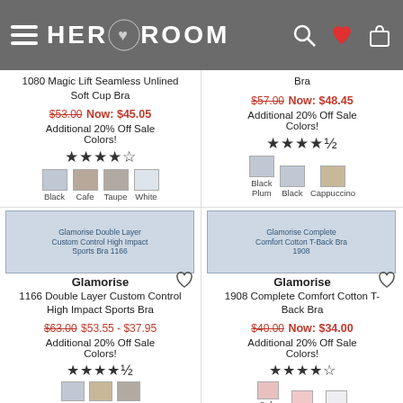HerRoom
1080 Magic Lift Seamless Unlined Soft Cup Bra
$53.00 Now: $45.05
Additional 20% Off Sale Colors!
Bra
$57.00 Now: $48.45
Additional 20% Off Sale Colors!
Colors: Black, Cafe, Taupe, White
Colors: Black Plum, Black, Cappuccino
[Figure (screenshot): Product image: Glamorise Double Layer Custom Control High Impact Sports Bra 1166]
[Figure (screenshot): Product image: Glamorise Complete Comfort Cotton T-Back Bra 1908]
Glamorise
1166 Double Layer Custom Control High Impact Sports Bra
$63.00 $53.55 - $37.95
Additional 20% Off Sale Colors!
Glamorise
1908 Complete Comfort Cotton T-Back Bra
$40.00 Now: $34.00
Additional 20% Off Sale Colors!
Colors: (swatches shown at bottom)
Colors: Cafe Pink, Pink Blush, White